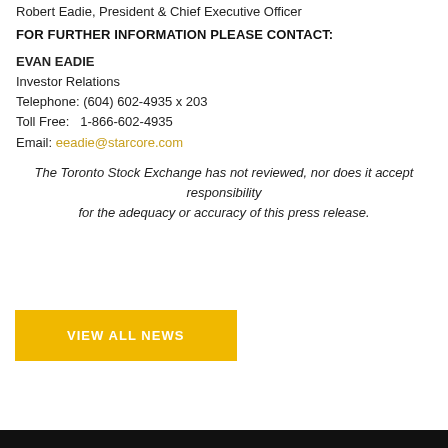Robert Eadie, President & Chief Executive Officer
FOR FURTHER INFORMATION PLEASE CONTACT:
EVAN EADIE
Investor Relations
Telephone: (604) 602-4935 x 203
Toll Free:   1-866-602-4935
Email: eeadie@starcore.com
The Toronto Stock Exchange has not reviewed, nor does it accept responsibility for the adequacy or accuracy of this press release.
[Figure (other): Yellow button labeled VIEW ALL NEWS]